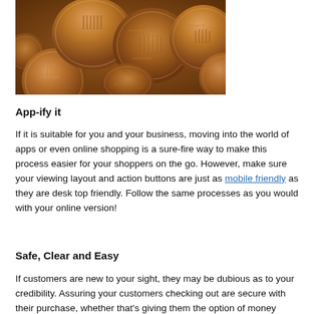[Figure (photo): A pile of British copper penny coins seen from above, showing the reverse side with various coin designs]
App-ify it
If it is suitable for you and your business, moving into the world of apps or even online shopping is a sure-fire way to make this process easier for your shoppers on the go. However, make sure your viewing layout and action buttons are just as mobile friendly as they are desk top friendly. Follow the same processes as you would with your online version!
Safe, Clear and Easy
If customers are new to your sight, they may be dubious as to your credibility. Assuring your customers checking out are secure with their purchase, whether that's giving them the option of money transfer services such as PayPal or working